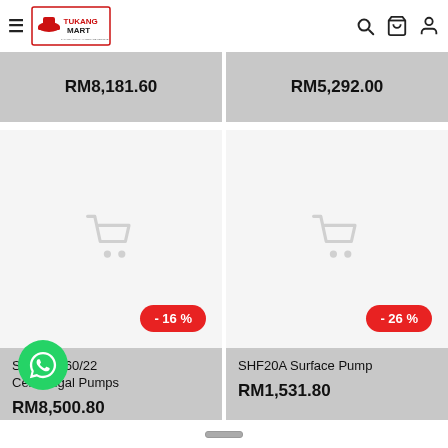Tukang Mart — menu, search, cart, account
RM8,181.60
RM5,292.00
[Figure (screenshot): Product card with shopping cart placeholder icon and -16% discount badge]
[Figure (screenshot): Product card with shopping cart placeholder icon and -26% discount badge]
SGT80-160/22 Centrifugal Pumps
RM8,500.80
SHF20A Surface Pump
RM1,531.80